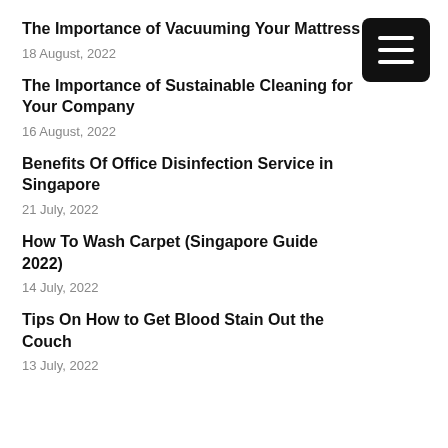The Importance of Vacuuming Your Mattress
18 August, 2022
The Importance of Sustainable Cleaning for Your Company
16 August, 2022
Benefits Of Office Disinfection Service in Singapore
21 July, 2022
How To Wash Carpet (Singapore Guide 2022)
14 July, 2022
Tips On How to Get Blood Stain Out the Couch
13 July, 2022